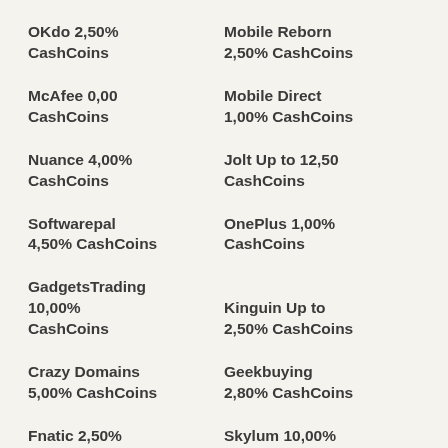OKdo 2,50% CashCoins
Mobile Reborn 2,50% CashCoins
McAfee 0,00 CashCoins
Mobile Direct 1,00% CashCoins
Nuance 4,00% CashCoins
Jolt Up to 12,50 CashCoins
Softwarepal 4,50% CashCoins
OnePlus 1,00% CashCoins
GadgetsTrading 10,00% CashCoins
Kinguin Up to 2,50% CashCoins
Crazy Domains 5,00% CashCoins
Geekbuying 2,80% CashCoins
Fnatic 2,50% CashCoins
Skylum 10,00% CashCoins
Grandado 5,00% CashCoins
YouFibre 15,00 CashCoins
Athos VPN Hos...
EE Pay Monthly Up to 25,00...